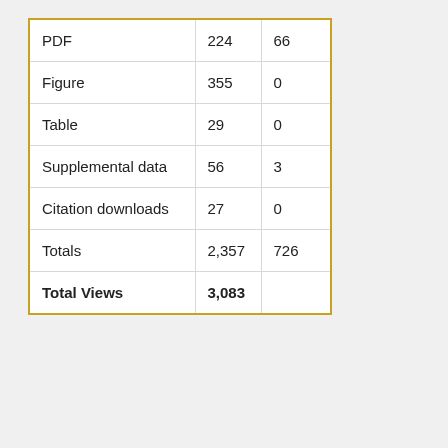| PDF | 224 | 66 |
| Figure | 355 | 0 |
| Table | 29 | 0 |
| Supplemental data | 56 | 3 |
| Citation downloads | 27 | 0 |
| Totals | 2,357 | 726 |
| Total Views | 3,083 |  |